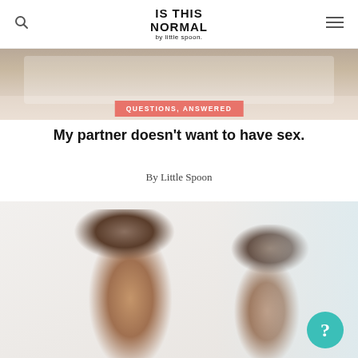IS THIS NORMAL by Little Spoon
[Figure (photo): Partial photo of a bed with white sheets and pillows, cropped at the top of the page]
QUESTIONS, ANSWERED
My partner doesn't want to have sex.
By Little Spoon
[Figure (photo): Photo of two children, a girl with hair in a bun and a boy, both looking down, with a teal question mark badge in the bottom right corner]